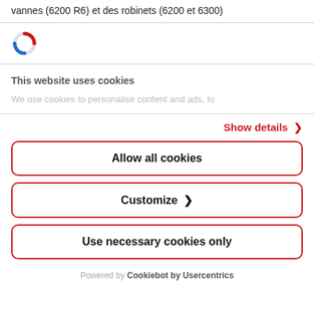vannes (6200 R6) et des robinets (6200 et 6300)
[Figure (logo): Circular logo with red and blue arc forming a ring, resembling a loading/refresh icon]
This website uses cookies
We use cookies to personalise content and ads, to
Show details >
Allow all cookies
Customize >
Use necessary cookies only
Powered by Cookiebot by Usercentrics